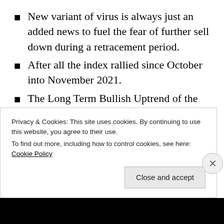New variant of virus is always just an added news to fuel the fear of further sell down during a retracement period.
After all the index rallied since October into November 2021.
The Long Term Bullish Uptrend of the U.S Indices remains intact.
Malaysia FBMKLCI
Privacy & Cookies: This site uses cookies. By continuing to use this website, you agree to their use.
To find out more, including how to control cookies, see here: Cookie Policy
Close and accept